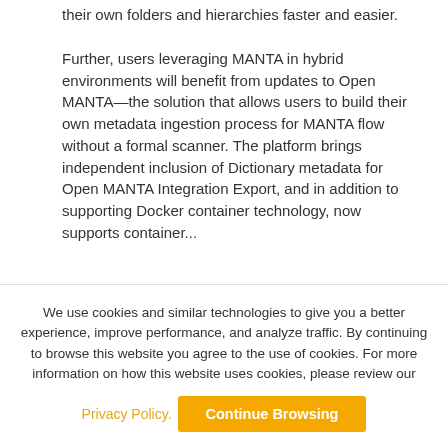their own folders and hierarchies faster and easier.
Further, users leveraging MANTA in hybrid environments will benefit from updates to Open MANTA—the solution that allows users to build their own metadata ingestion process for MANTA flow without a formal scanner. The platform brings independent inclusion of Dictionary metadata for Open MANTA Integration Export, and in addition to supporting Docker container technology, now supports container...
We use cookies and similar technologies to give you a better experience, improve performance, and analyze traffic. By continuing to browse this website you agree to the use of cookies. For more information on how this website uses cookies, please review our
Privacy Policy.  Continue Browsing